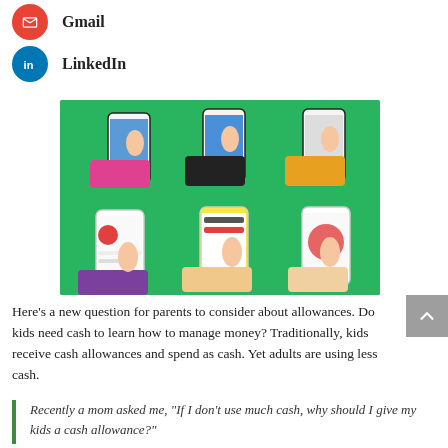[Figure (logo): Red circular Gmail icon button]
Gmail
[Figure (logo): Blue circular LinkedIn icon button]
LinkedIn
[Figure (illustration): Green background illustration showing six hands holding smartphones with various app screens displayed, arranged in a 3x2 grid]
Here's a new question for parents to consider about allowances. Do kids need cash to learn how to manage money? Traditionally, kids receive cash allowances and spend as cash. Yet adults are using less cash.
Recently a mom asked me, "If I don't use much cash, why should I give my kids a cash allowance?"